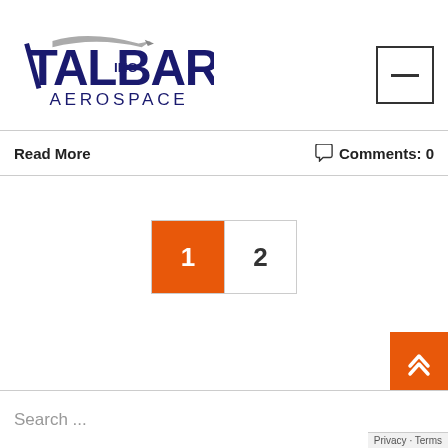[Figure (logo): Talbar Inc Aerospace company logo — stylized dark blue bold lettering with an arrow swoosh above, and 'AEROSPACE' in spaced capital letters below]
[Figure (other): Hamburger menu icon — a horizontal dash centered in a square border]
Read More
Comments: 0
1  2
[Figure (other): Back to top orange button with double chevron up arrows]
Search ...
Privacy · Terms